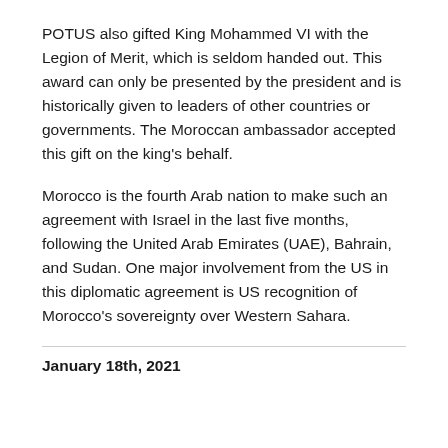POTUS also gifted King Mohammed VI with the Legion of Merit, which is seldom handed out. This award can only be presented by the president and is historically given to leaders of other countries or governments. The Moroccan ambassador accepted this gift on the king's behalf.
Morocco is the fourth Arab nation to make such an agreement with Israel in the last five months, following the United Arab Emirates (UAE), Bahrain, and Sudan. One major involvement from the US in this diplomatic agreement is US recognition of Morocco's sovereignty over Western Sahara.
January 18th, 2021